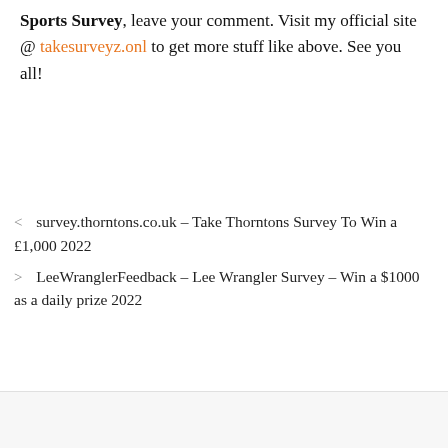Sports Survey, leave your comment. Visit my official site @ takesurveyz.onl to get more stuff like above. See you all!
< survey.thorntons.co.uk – Take Thorntons Survey To Win a £1,000 2022
> LeeWranglerFeedback – Lee Wrangler Survey – Win a $1000 as a daily prize 2022